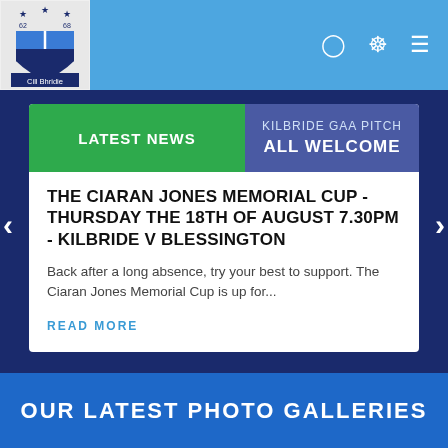[Figure (logo): Kilbride GAA club crest/logo with colors blue and white, text 'Cill Bhridie' below]
LATEST NEWS | KILBRIDE GAA PITCH ALL WELCOME
THE CIARAN JONES MEMORIAL CUP - THURSDAY THE 18TH OF AUGUST 7.30PM - KILBRIDE V BLESSINGTON
Back after a long absence, try your best to support. The Ciaran Jones Memorial Cup is up for...
READ MORE
OUR LATEST PHOTO GALLERIES